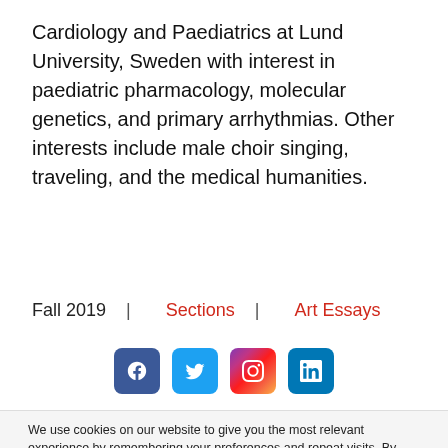Cardiology and Paediatrics at Lund University, Sweden with interest in paediatric pharmacology, molecular genetics, and primary arrhythmias. Other interests include male choir singing, traveling, and the medical humanities.
Fall 2019  |  Sections  |  Art Essays
[Figure (infographic): Social media icons: Facebook, Twitter, Instagram, LinkedIn]
We use cookies on our website to give you the most relevant experience by remembering your preferences and repeat visits. By clicking "Accept All", you consent to the use of ALL the cookies. However, you may visit "Cookie Settings" to provide a controlled consent.
[cookie_settings margin="0px 5px 0px 0px"]
[cookie_accept_all]